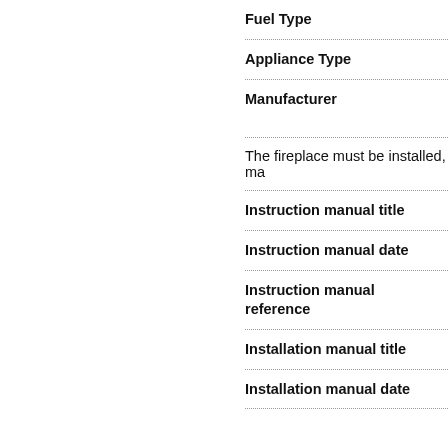| Field | Value |
| --- | --- |
| Fuel Type | Wo... |
| Appliance Type | Bo... |
| Manufacturer | HE... Se... |
| The fireplace must be installed, ma... |  |
| Instruction manual title | Se... |
| Instruction manual date | Se... |
| Instruction manual reference | Se... |
| Installation manual title | Se... |
| Installation manual date | Se... |